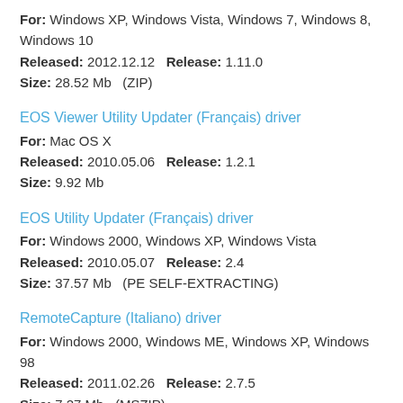For: Windows XP, Windows Vista, Windows 7, Windows 8, Windows 10
Released: 2012.12.12   Release: 1.11.0
Size: 28.52 Mb  (ZIP)
EOS Viewer Utility Updater (Français) driver
For: Mac OS X
Released: 2010.05.06   Release: 1.2.1
Size: 9.92 Mb
EOS Utility Updater (Français) driver
For: Windows 2000, Windows XP, Windows Vista
Released: 2010.05.07   Release: 2.4
Size: 37.57 Mb  (PE SELF-EXTRACTING)
RemoteCapture (Italiano) driver
For: Windows 2000, Windows ME, Windows XP, Windows 98
Released: 2011.02.26   Release: 2.7.5
Size: 7.27 Mb  (MSZIP)
Picture Style Editor (Français) driver